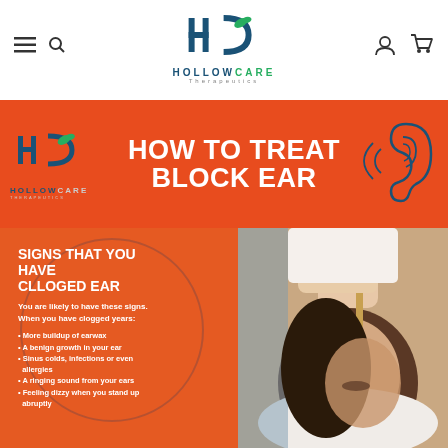HOLLOWCARE Therapeutics — navigation header with logo, hamburger menu, search, user icon, cart icon
[Figure (infographic): Infographic on orange background showing 'HOW TO TREAT BLOCK EAR' with HollowCare Therapeutics logo, ear illustration, a section titled 'SIGNS THAT YOU HAVE CLLOGED EAR' with bullet points listing signs of clogged ears, and a photo of a woman receiving ear candling treatment.]